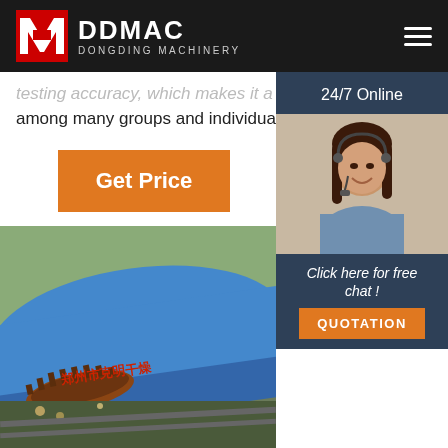DDMAC DONGDING MACHINERY
testing accuracy, which makes it a prime choice among many groups and individuals, ranging
[Figure (other): Orange 'Get Price' button]
[Figure (other): 24/7 Online chat sidebar with customer service representative photo, 'Click here for free chat!' text and orange QUOTATION button]
[Figure (photo): Blue industrial rotary dryer drum with Chinese text markings, outdoor industrial setting]